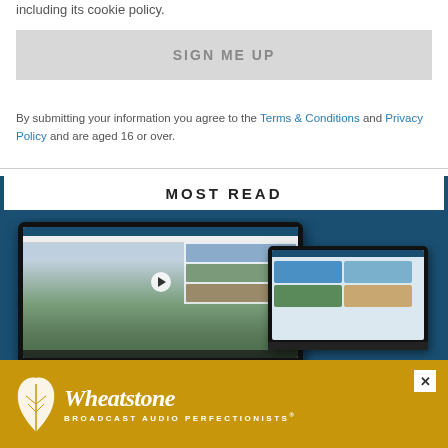including its cookie policy.
SIGN ME UP
By submitting your information you agree to the Terms & Conditions and Privacy Policy and are aged 16 or over.
MOST READ
[Figure (screenshot): Two laptop/monitor devices showing a sports video streaming website interface with a football player video and grid of sports thumbnails]
[Figure (logo): Wheatstone BROADCAST AUDIO PERFECTIONISTS advertisement banner with gold/yellow background and white leaf logo]